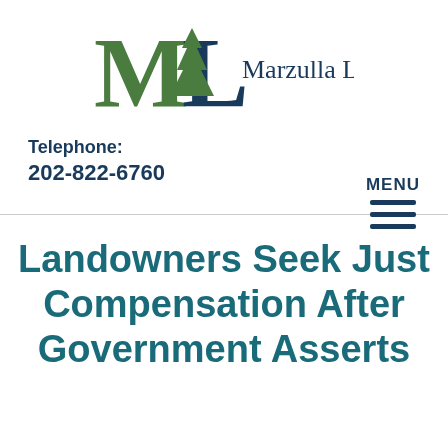[Figure (logo): Marzulla Law logo with stylized ML letters in green and dark navy, with a tree silhouette, and 'Marzulla Law' text in dark navy serif font]
Telephone:
202-822-6760
MENU
Landowners Seek Just Compensation After Government Asserts